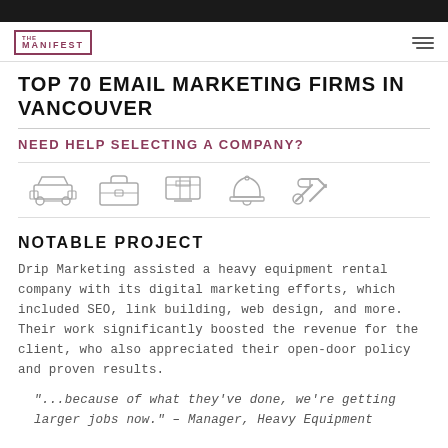THE MANIFEST
TOP 70 EMAIL MARKETING FIRMS IN VANCOUVER
NEED HELP SELECTING A COMPANY?
[Figure (infographic): Row of five category icons: car/auto, briefcase/business, shopping cart/e-commerce, bell/hospitality, tools/services]
NOTABLE PROJECT
Drip Marketing assisted a heavy equipment rental company with its digital marketing efforts, which included SEO, link building, web design, and more. Their work significantly boosted the revenue for the client, who also appreciated their open-door policy and proven results.
"...because of what they've done, we're getting larger jobs now." – Manager, Heavy Equipment